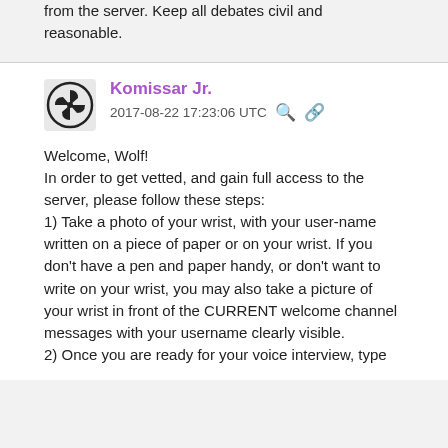from the server. Keep all debates civil and reasonable.
Komissar Jr.
2017-08-22 17:23:06 UTC
Welcome, Wolf!
In order to get vetted, and gain full access to the server, please follow these steps:
1) Take a photo of your wrist, with your user-name written on a piece of paper or on your wrist. If you don't have a pen and paper handy, or don't want to write on your wrist, you may also take a picture of your wrist in front of the CURRENT welcome channel messages with your username clearly visible.
2) Once you are ready for your voice interview, type